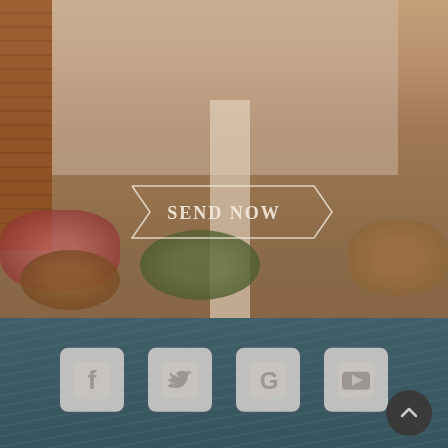[Figure (photo): Warm-toned exterior photo of a house with brick wall on left, white column in center, flowering bushes and shrubs in foreground, partially obscured by a frosted semi-transparent overlay box in the upper portion]
SEND NOW
[Figure (infographic): Dark teal/slate blue footer bar with social media icons: Facebook, Twitter, Google, YouTube, and a dark circular scroll-to-top arrow button in bottom right corner]